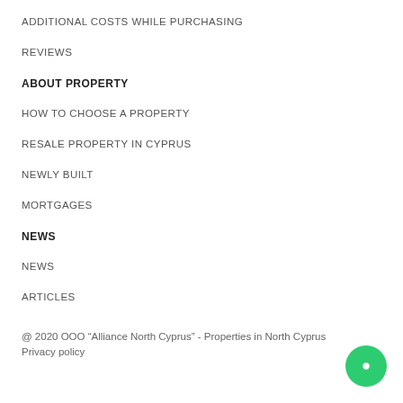ADDITIONAL COSTS WHILE PURCHASING
REVIEWS
ABOUT PROPERTY
HOW TO CHOOSE A PROPERTY
RESALE PROPERTY IN CYPRUS
NEWLY BUILT
MORTGAGES
NEWS
NEWS
ARTICLES
@ 2020 OOO “Alliance North Cyprus” - Properties in North Cyprus
Privacy policy